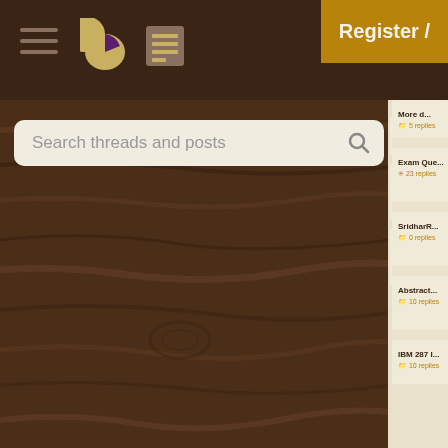[Figure (screenshot): Top navigation bar with dark brown background showing hamburger menu icon, pie chart icon, and list/document icon]
Register /
Search threads and posts
[Figure (photo): Dark wood texture background panel on the left side]
More d... p... 40
5 replies
Exam Questions: Design
23 replies
SridharRaman mock que
0 replies
Abstract classes vs. inter
10 replies
IBM 287 ICE TEST
10 replies